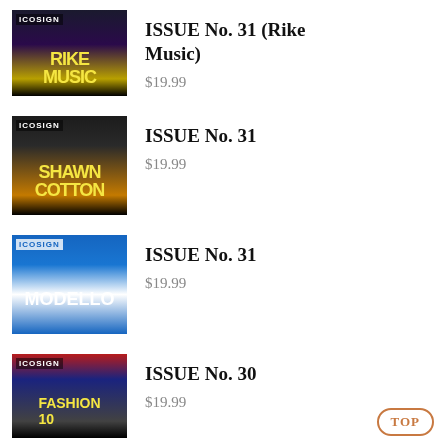[Figure (photo): COSIGN magazine Issue No. 31 cover featuring Rike Music]
ISSUE No. 31 (Rike Music)
$19.99
[Figure (photo): COSIGN magazine Issue No. 31 cover featuring Shawn Cotton]
ISSUE No. 31
$19.99
[Figure (photo): COSIGN magazine Issue No. 31 cover featuring Modello]
ISSUE No. 31
$19.99
[Figure (photo): COSIGN magazine Issue No. 30 cover]
ISSUE No. 30
$19.99